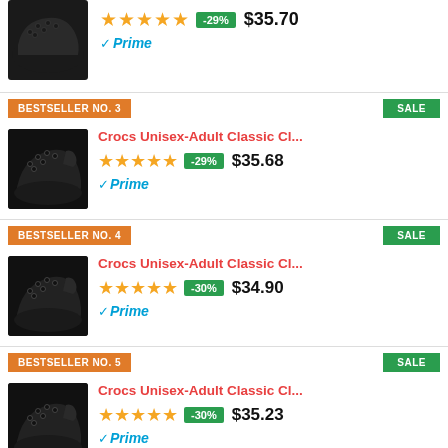[Figure (screenshot): Partial product listing showing stars, -29% badge, $35.70 price, and Prime logo]
BESTSELLER NO. 3
SALE
[Figure (photo): Black Crocs clog shoe]
Crocs Unisex-Adult Classic Cl...
★★★★★ -29% $35.68
✓Prime
BESTSELLER NO. 4
SALE
[Figure (photo): Black Crocs clog shoe]
Crocs Unisex-Adult Classic Cl...
★★★★★ -30% $34.90
✓Prime
BESTSELLER NO. 5
SALE
[Figure (photo): Black Crocs clog shoe]
Crocs Unisex-Adult Classic Cl...
★★★★★ -30% $35.23
✓Prime